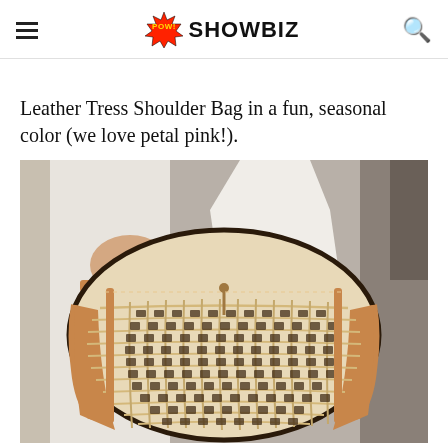POW! SHOWBIZ
Leather Tress Shoulder Bag in a fun, seasonal color (we love petal pink!).
[Figure (photo): Close-up photo of a woven/crochet raffia bucket bag with tan leather trim being held by a person wearing a white outfit]